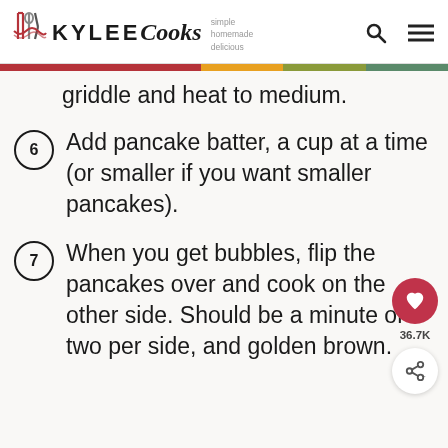KYLEE Cooks — simple homemade delicious
griddle and heat to medium.
6. Add pancake batter, a cup at a time (or smaller if you want smaller pancakes).
7. When you get bubbles, flip the pancakes over and cook on the other side. Should be a minute or two per side, and golden brown.